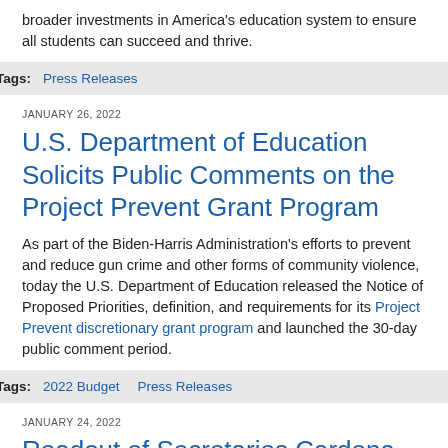broader investments in America's education system to ensure all students can succeed and thrive.
Tags: Press Releases
JANUARY 26, 2022
U.S. Department of Education Solicits Public Comments on the Project Prevent Grant Program
As part of the Biden-Harris Administration's efforts to prevent and reduce gun crime and other forms of community violence, today the U.S. Department of Education released the Notice of Proposed Priorities, definition, and requirements for its Project Prevent discretionary grant program and launched the 30-day public comment period.
Tags: 2022 Budget   Press Releases
JANUARY 24, 2022
Readout of Secretaries Cardona and